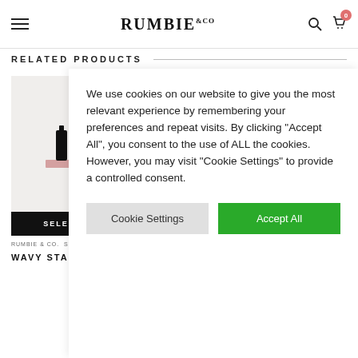RUMBIE &CO
RELATED PRODUCTS
[Figure (photo): Product starter kit bottles on shelf with SELECT OPTIONS button]
RUMBIE & CO.  STAR...
WAVY STARTER KIT
We use cookies on our website to give you the most relevant experience by remembering your preferences and repeat visits. By clicking "Accept All", you consent to the use of ALL the cookies. However, you may visit "Cookie Settings" to provide a controlled consent.
Cookie Settings   Accept All